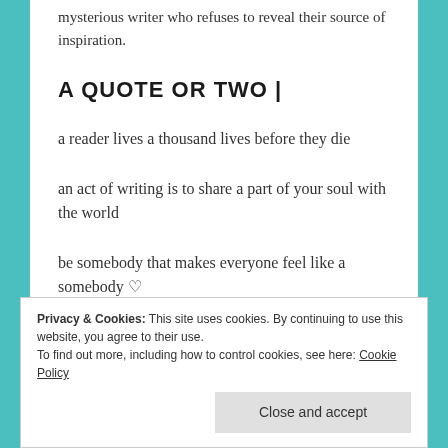mysterious writer who refuses to reveal their source of inspiration.
A QUOTE OR TWO |
a reader lives a thousand lives before they die
an act of writing is to share a part of your soul with the world
be somebody that makes everyone feel like a somebody ♡
LETIC VIDE |
Privacy & Cookies: This site uses cookies. By continuing to use this website, you agree to their use.
To find out more, including how to control cookies, see here: Cookie Policy